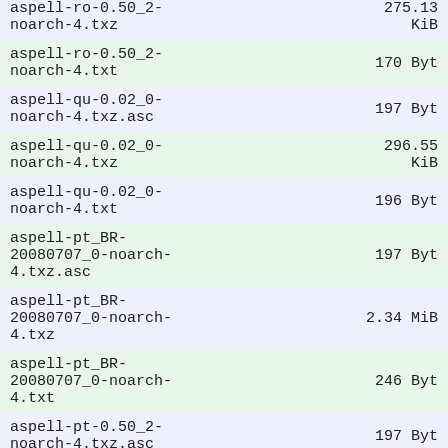| Filename | Size |
| --- | --- |
| aspell-ro-0.50_2-noarch-4.txz | 275.13 KiB |
| aspell-ro-0.50_2-noarch-4.txt | 170 Byt |
| aspell-qu-0.02_0-noarch-4.txz.asc | 197 Byt |
| aspell-qu-0.02_0-noarch-4.txz | 296.55 KiB |
| aspell-qu-0.02_0-noarch-4.txt | 196 Byt |
| aspell-pt_BR-20080707_0-noarch-4.txz.asc | 197 Byt |
| aspell-pt_BR-20080707_0-noarch-4.txz | 2.34 MiB |
| aspell-pt_BR-20080707_0-noarch-4.txt | 246 Byt |
| aspell-pt-0.50_2-noarch-4.txz.asc | 197 Byt |
| aspell-pt-0.50_2-noarch-4.txz | 2.17 MiB |
| aspell-pt-0.50_2- | ... |